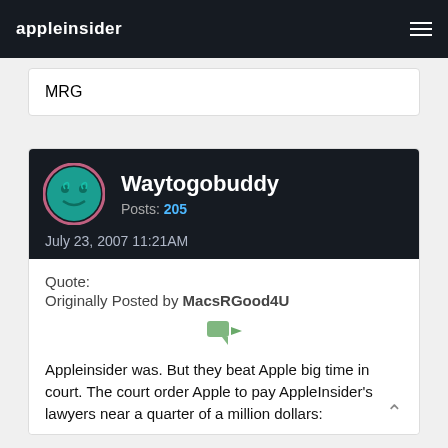appleinsider
MRG
Waytogobuddy
Posts: 205
July 23, 2007 11:21AM
Quote:
Originally Posted by MacsRGood4U
Appleinsider was. But they beat Apple big time in court. The court order Apple to pay AppleInsider's lawyers near a quarter of a million dollars: